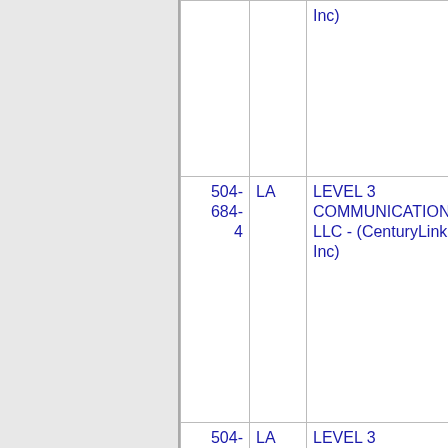| Number | State | Name | ID |  |
| --- | --- | --- | --- | --- |
|  |  | Inc) | 3232 |  |
| 504-684-4 | LA | LEVEL 3 COMMUNICATIONS, LLC - (CenturyLink, Inc) | 3232 |  |
| 504-684-5 | LA | LEVEL 3 COMMUNICATIONS, LLC - (CenturyLink, Inc) | 3232 |  |